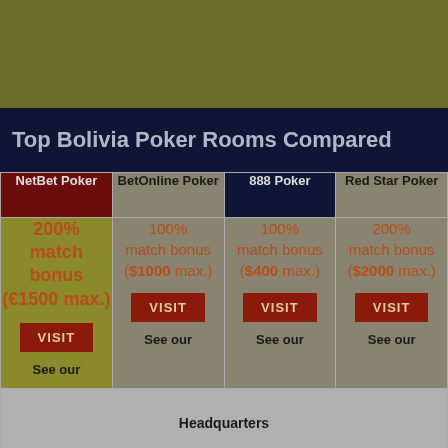[Figure (other): Olive/dark yellow banner image at top of page]
Top Bolivia Poker Rooms Compared
| NetBet Poker | BetOnline Poker | 888 Poker | Red Star Poker |
| --- | --- | --- | --- |
| 200% match bonus (€1500 max.) VISIT See our | 100% match bonus ($1000 max.) VISIT See our | 100% match bonus ($400 max.) VISIT See our | 200% match bonus ($2000 max.) VISIT See our |
| Headquarters | Headquarters | Headquarters | Headquarters |
| Malta | Panama | Malta | Curacao |